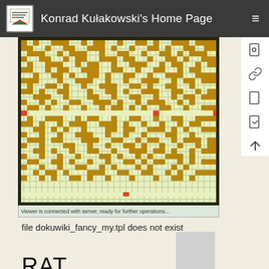Konrad Kułakowski's Home Page
[Figure (screenshot): A grid-based viewer application showing a cellular automaton or maze pattern with golden/brown and light yellow-green cells arranged in a complex pattern. The viewer has a status bar reading 'Viewer is connected with server, ready for further operations...']
file dokuwiki_fancy_my.tpl does not exist
RAT